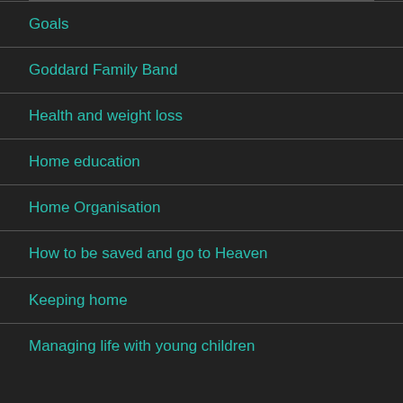Goals
Goddard Family Band
Health and weight loss
Home education
Home Organisation
How to be saved and go to Heaven
Keeping home
Managing life with young children